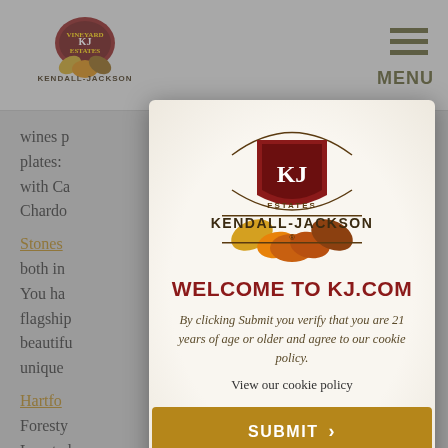[Figure (logo): Kendall-Jackson winery logo in page header]
MENU
wines p... l plates: ...occhi with Ca... Chardo...
Stones... ave., both in... You ha... flagship... beauti... show a unique...
Hartfo... Forest... Locate... ian Rive...
[Figure (logo): Kendall-Jackson Vineyard Estates modal logo]
WELCOME TO KJ.COM
By clicking Submit you verify that you are 21 years of age or older and agree to our cookie policy.
View our cookie policy
SUBMIT